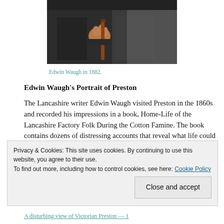[Figure (photo): Close-up painting/portrait detail showing a hand holding a walking cane, dark coat, Victorian era style, painted in oil.]
Edwin Waugh in 1882.
Edwin Waugh's Portrait of Preston
The Lancashire writer Edwin Waugh visited Preston in the 1860s and recorded his impressions in a book, Home-Life of the Lancashire Factory Folk During the Cotton Famine. The book contains dozens of distressing accounts that reveal what life could be like for
Privacy & Cookies: This site uses cookies. By continuing to use this website, you agree to their use.
To find out more, including how to control cookies, see here: Cookie Policy
Close and accept
A disturbing view of Victorian Preston — 1